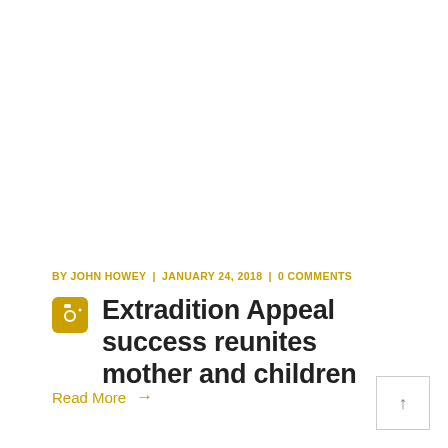BY JOHN HOWEY | JANUARY 24, 2018 | 0 COMMENTS
Extradition Appeal success reunites mother and children
Read More →